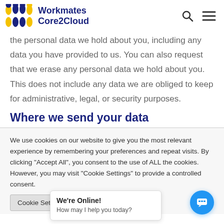Workmates Core2Cloud
the personal data we hold about you, including any data you have provided to us. You can also request that we erase any personal data we hold about you. This does not include any data we are obliged to keep for administrative, legal, or security purposes.
Where we send your data
We use cookies on our website to give you the most relevant experience by remembering your preferences and repeat visits. By clicking "Accept All", you consent to the use of ALL the cookies. However, you may visit "Cookie Settings" to provide a controlled consent.
Cookie Settings | We're Online! How may I help you today?